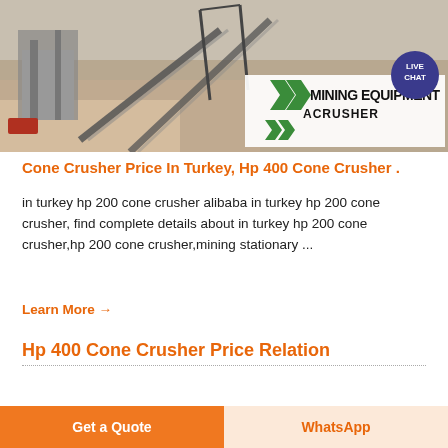[Figure (photo): Aerial view of a mining/quarry operation with conveyor belts and equipment. Overlay shows MINING EQUIPMENT ACRUSHER logo with green chevron icons and a LIVE CHAT bubble.]
Cone Crusher Price In Turkey, Hp 400 Cone Crusher .
in turkey hp 200 cone crusher alibaba in turkey hp 200 cone crusher, find complete details about in turkey hp 200 cone crusher,hp 200 cone crusher,mining stationary ...
Learn More →
Hp 400 Cone Crusher Price Relation